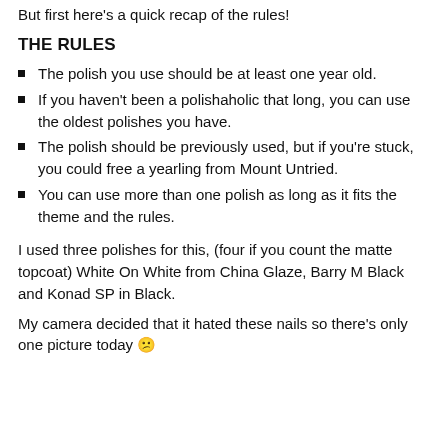But first here's a quick recap of the rules!
THE RULES
The polish you use should be at least one year old.
If you haven't been a polishaholic that long, you can use the oldest polishes you have.
The polish should be previously used, but if you're stuck, you could free a yearling from Mount Untried.
You can use more than one polish as long as it fits the theme and the rules.
I used three polishes for this, (four if you count the matte topcoat) White On White from China Glaze, Barry M Black and Konad SP in Black.
My camera decided that it hated these nails so there's only one picture today 😕